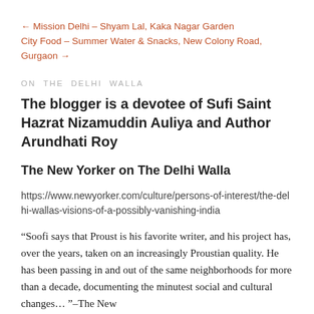← Mission Delhi – Shyam Lal, Kaka Nagar Garden
City Food – Summer Water & Snacks, New Colony Road, Gurgaon →
ON THE DELHI WALLA
The blogger is a devotee of Sufi Saint Hazrat Nizamuddin Auliya and Author Arundhati Roy
The New Yorker on The Delhi Walla
https://www.newyorker.com/culture/persons-of-interest/the-delhi-wallas-visions-of-a-possibly-vanishing-india
“Soofi says that Proust is his favorite writer, and his project has, over the years, taken on an increasingly Proustian quality. He has been passing in and out of the same neighborhoods for more than a decade, documenting the minutest social and cultural changes…” –The New